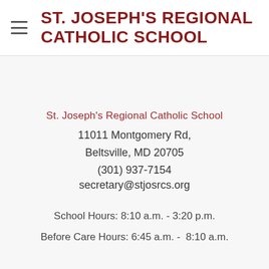ST. JOSEPH'S REGIONAL CATHOLIC SCHOOL
St. Joseph's Regional Catholic School
11011 Montgomery Rd,
Beltsville, MD 20705
(301) 937-7154
secretary@stjosrcs.org
School Hours: 8:10 a.m. - 3:20 p.m.
Before Care Hours: 6:45 a.m. -  8:10 a.m.